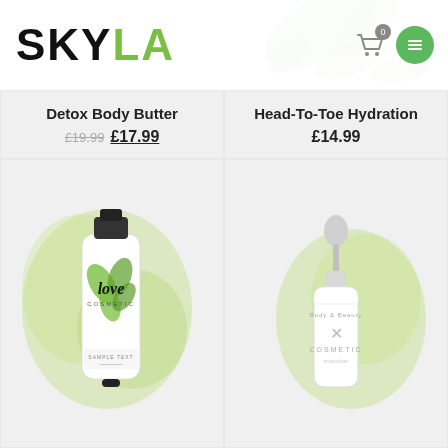[Figure (logo): SKYLA logo with SKY in black and LA in green, cart icon with 0 badge, green hamburger menu button]
Detox Body Butter
£19.99 £17.99
Head-To-Toe Hydration
£14.99
[Figure (illustration): Cosmetic tube product (Love Cosmetic) with green leaf design on white background with green watercolor splash]
[Figure (illustration): Cosmetic dropper bottle (white) with butterfly/cross design on white background with green watercolor splash]